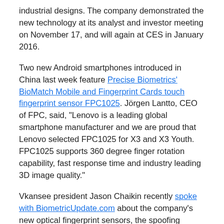industrial designs. The company demonstrated the new technology at its analyst and investor meeting on November 17, and will again at CES in January 2016.
Two new Android smartphones introduced in China last week feature Precise Biometrics' BioMatch Mobile and Fingerprint Cards touch fingerprint sensor FPC1025. Jörgen Lantto, CEO of FPC, said, “Lenovo is a leading global smartphone manufacturer and we are proud that Lenovo selected FPC1025 for X3 and X3 Youth. FPC1025 supports 360 degree finger rotation capability, fast response time and industry leading 3D image quality.”
Vkansee president Jason Chaikin recently spoke with BiometricUpdate.com about the company’s new optical fingerprint sensors, the spoofing method that successfully hacked the capacitive fingerprint sensors embedded in Apple and Samsung devices and the future of fingerprint recognition in the biometrics market.
In a guest post, Francis Mather, Director of Computer Vision at Hoyos Labs, discusses their new, proprietary technology that is capable of collecting four fingerprints in a matter of seconds using only a person’s smartphone. 4F ID uses the phone’s rear camera